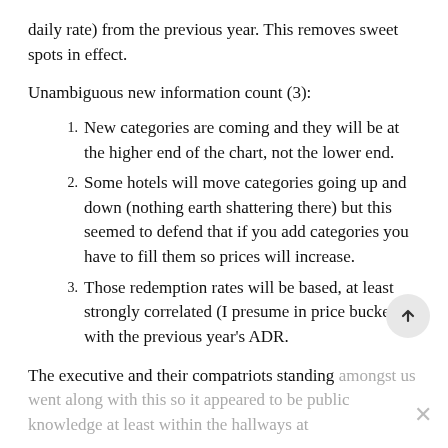daily rate) from the previous year. This removes sweet spots in effect.
Unambiguous new information count (3):
New categories are coming and they will be at the higher end of the chart, not the lower end.
Some hotels will move categories going up and down (nothing earth shattering there) but this seemed to defend that if you add categories you have to fill them so prices will increase.
Those redemption rates will be based, at least strongly correlated (I presume in price buckets) with the previous year’s ADR.
The executive and their compatriots standing amongst us went along with this so it appeared to be public knowledge at least within the hallways at